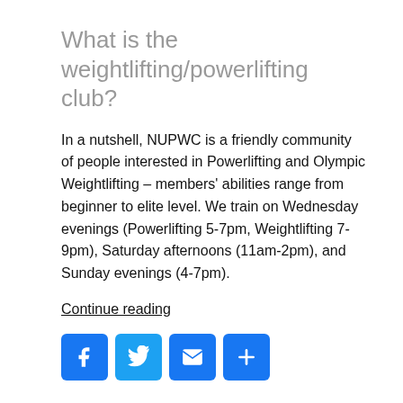What is the weightlifting/powerlifting club?
In a nutshell, NUPWC is a friendly community of people interested in Powerlifting and Olympic Weightlifting – members' abilities range from beginner to elite level. We train on Wednesday evenings (Powerlifting 5-7pm, Weightlifting 7-9pm), Saturday afternoons (11am-2pm), and Sunday evenings (4-7pm).
Continue reading
[Figure (infographic): Four social sharing icon buttons: Facebook (blue f), Twitter (blue bird), Email (blue envelope), Share (blue plus sign)]
16TH APRIL 2022
Beginners guide to Newcastle University: